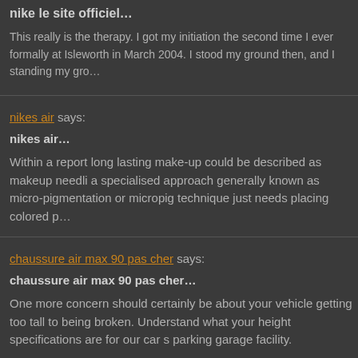nike le site officiel…
This really is the therapy. I got my initiation the second time I ever formally at Isleworth in March 2004. I stood my ground then, and I standing my gro…
nikes air says:
nikes air…
Within a report long lasting make-up could be described as makeup needli a specialised approach generally known as micro-pigmentation or micropig technique just needs placing colored p…
chaussure air max 90 pas cher says:
chaussure air max 90 pas cher…
One more concern should certainly be about your vehicle getting too tall to being broken. Understand what your height specifications are for our car s parking garage facility.